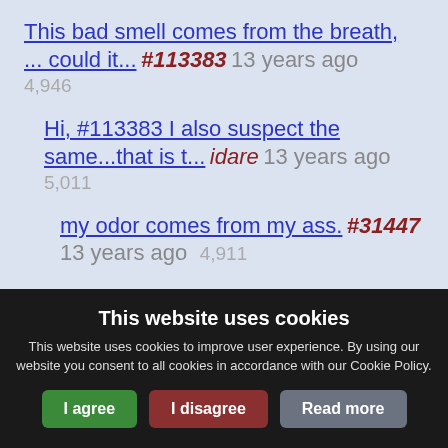This bad smell comes from the breath, ... could it... #113383 13 years ago 4,946
Hi, #113383 I also suspect the same...that is t... idare 13 years ago 5,011
my odor comes from my ass. #31447 13 years ago 4,911
Hi, #31447. My odor comes from my nose. I dunno. idare 13 years ago
This website uses cookies
This website uses cookies to improve user experience. By using our website you consent to all cookies in accordance with our Cookie Policy.
I agree | I disagree | Read more